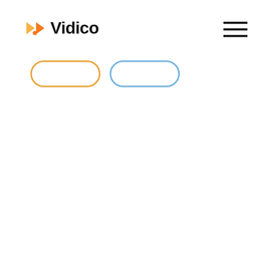[Figure (logo): Vidico logo with orange bowtie/play-button icon and bold black 'Vidico' wordmark]
[Figure (other): Hamburger menu icon (three horizontal lines) in top right corner]
[Figure (other): Two pill-shaped outline buttons: one with orange border, one with blue border, side by side]